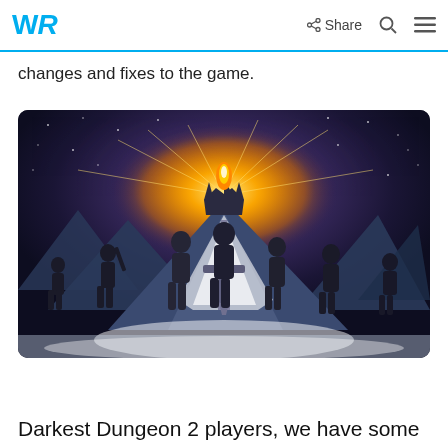WR | Share
changes and fixes to the game.
[Figure (illustration): Dark fantasy game key art showing a glowing crown-topped sword monument on a snowy mountain peak, with multiple dark silhouetted warrior characters standing in the foreground under a starry night sky with dramatic golden light rays. This is Darkest Dungeon 2 promotional artwork.]
Darkest Dungeon 2 players, we have some